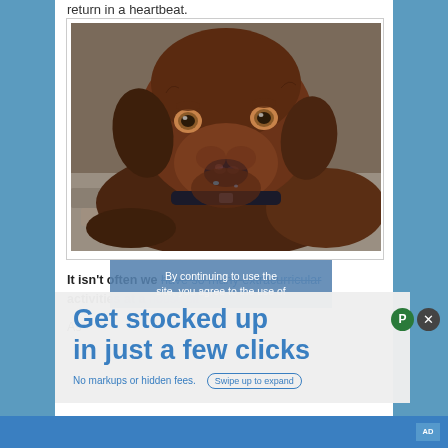return in a heartbeat.
[Figure (photo): A chocolate Labrador dog looking directly at the camera, lying on stone floor with a dark collar, close-up portrait shot.]
It isn't often we have so many extracurricular activities at a house sit
As
By continuing to use the site, you agree to the use of
Get stocked up in just a few clicks
No markups or hidden fees.
Swipe up to expand